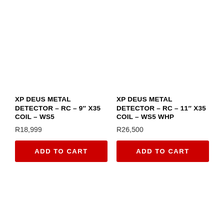XP DEUS METAL DETECTOR – RC – 9″ X35 COIL – WS5
R18,999
XP DEUS METAL DETECTOR – RC – 11″ X35 COIL – WS5 WHP
R26,500